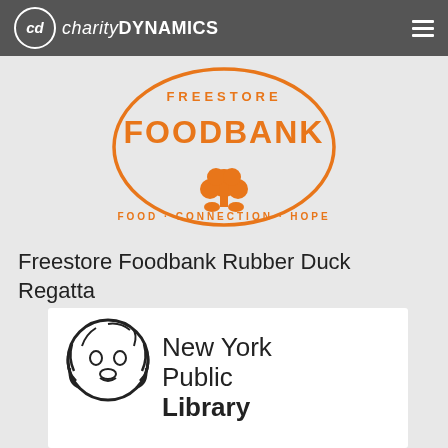charity DYNAMICS
[Figure (logo): Freestore Foodbank logo — orange oval outline with 'FREESTORE' text at top, large 'FOODBANK' text in center, an orange tree icon below, and 'FOOD · CONNECTION · HOPE' tagline at bottom]
Freestore Foodbank Rubber Duck Regatta
[Figure (logo): New York Public Library logo — black outlined lion head on left, 'New York Public Library' text on right in bold/regular serif font]